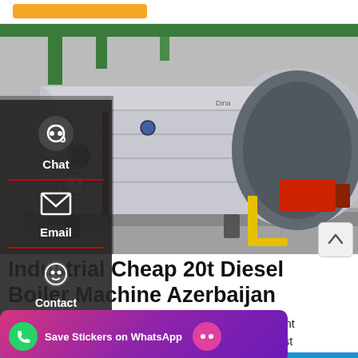[Figure (photo): Industrial diesel boiler machine installed in a facility, showing a large silver horizontal cylindrical pressure vessel with pipes, gauges, and a red/black burner unit. Green pipe overhead, yellow gas pipe at base.]
Industrial Cheap 20t Diesel Boiler Machine Azerbaijan
Moldavia. 8t biomass boiler Agent steam boiler - sweetgiants.be. Best
[Figure (screenshot): Save Stickers on WhatsApp promotional banner with phone and chat icons]
Leave Message
OnlineChat